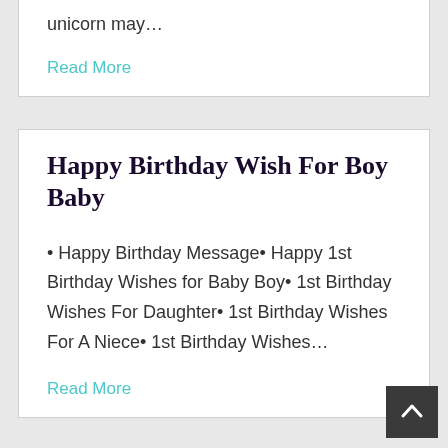unicorn may…
Read More
Happy Birthday Wish For Boy Baby
• Happy Birthday Message• Happy 1st Birthday Wishes for Baby Boy• 1st Birthday Wishes For Daughter• 1st Birthday Wishes For A Niece• 1st Birthday Wishes…
Read More